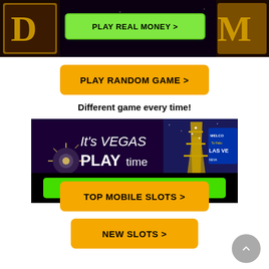[Figure (screenshot): Top banner showing Dragon Kingdom slot game with golden text logo on dark background, with a green PLAY REAL MONEY > button overlaid]
[Figure (other): Yellow button: PLAY RANDOM GAME >]
Different game every time!
[Figure (screenshot): Vegas advertisement banner: It's VEGAS PLAYtime with Las Vegas sign image and a green CLAIM YOUR BONUS> button]
[Figure (other): Yellow button: TOP MOBILE SLOTS >]
[Figure (other): Orange button: NEW SLOTS >]